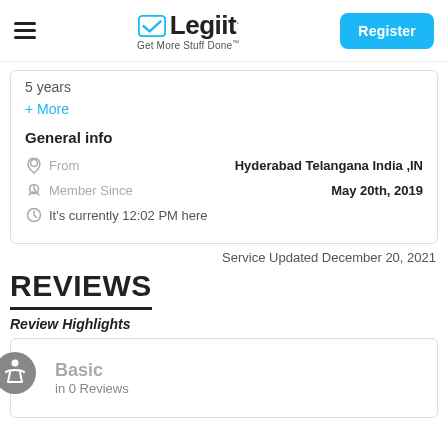Legiit — Get More Stuff Done — Register
5 years
+ More
General info
From: Hyderabad Telangana India ,IN
Member Since: May 20th, 2019
It's currently 12:02 PM here
Service Updated December 20, 2021
REVIEWS
Review Highlights
Basic
in 0 Reviews